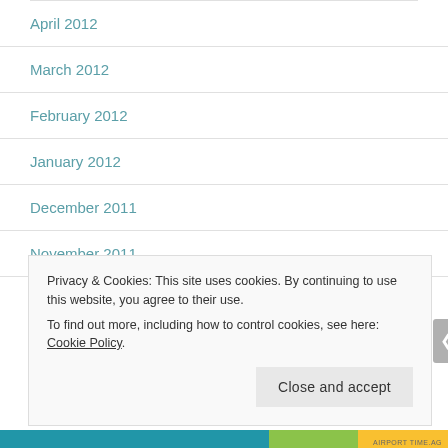April 2012
March 2012
February 2012
January 2012
December 2011
November 2011
Privacy & Cookies: This site uses cookies. By continuing to use this website, you agree to their use.
To find out more, including how to control cookies, see here: Cookie Policy
Close and accept